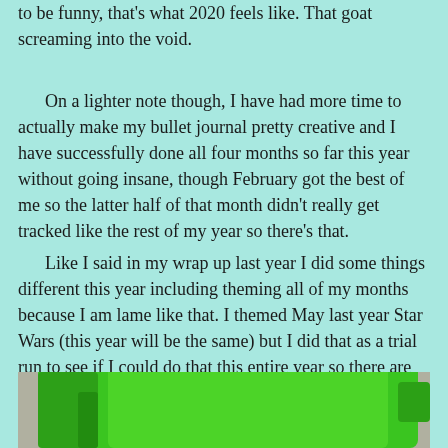to be funny, that's what 2020 feels like. That goat screaming into the void.
On a lighter note though, I have had more time to actually make my bullet journal pretty creative and I have successfully done all four months so far this year without going insane, though February got the best of me so the latter half of that month didn't really get tracked like the rest of my year so there's that.
Like I said in my wrap up last year I did some things different this year including theming all of my months because I am lame like that. I themed May last year Star Wars (this year will be the same) but I did that as a trial run to see if I could do that this entire year so there are touches of the theme on most of the non-calendar pages.
[Figure (photo): Bottom portion of a photo showing a bright green object (appears to be a notebook or journal cover), partially visible at the bottom of the page.]